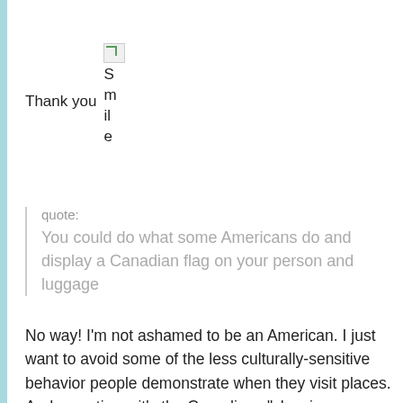Thank you Smile
quote: You could do what some Americans do and display a Canadian flag on your person and luggage
No way! I'm not ashamed to be an American. I just want to avoid some of the less culturally-sensitive behavior people demonstrate when they visit places. And sometimes it's the Canadians "showing